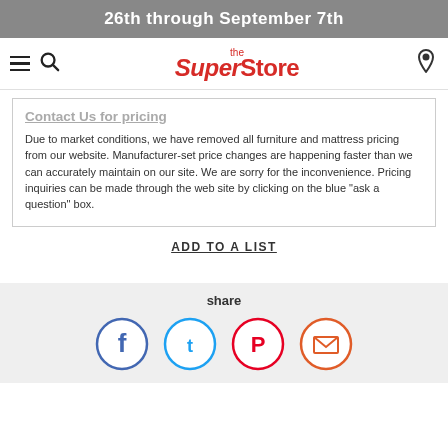26th through September 7th
[Figure (logo): The SuperStore logo in red with navigation icons (hamburger menu, search, location pin)]
Contact Us for pricing
Due to market conditions, we have removed all furniture and mattress pricing from our website. Manufacturer-set price changes are happening faster than we can accurately maintain on our site. We are sorry for the inconvenience. Pricing inquiries can be made through the web site by clicking on the blue "ask a question" box.
ADD TO A LIST
share
[Figure (infographic): Social share icons: Facebook (blue circle), Twitter (light blue circle), Pinterest (red circle), Email (orange-red circle)]